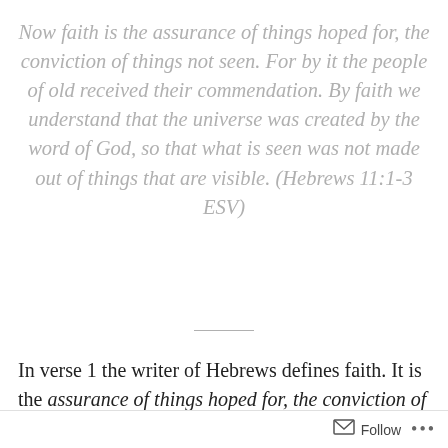Now faith is the assurance of things hoped for, the conviction of things not seen. For by it the people of old received their commendation. By faith we understand that the universe was created by the word of God, so that what is seen was not made out of things that are visible. (Hebrews 11:1-3 ESV)
In verse 1 the writer of Hebrews defines faith. It is the assurance of things hoped for, the conviction of
Follow ...